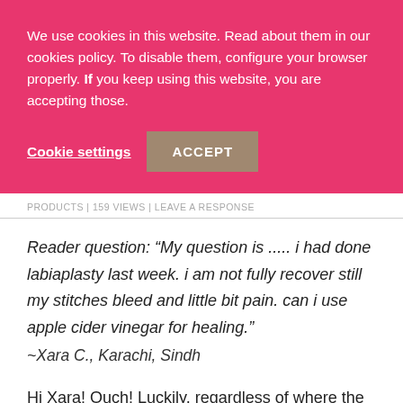We use cookies in this website. Read about them in our cookies policy. To disable them, configure your browser properly. If you keep using this website, you are accepting those.
Cookie settings   ACCEPT
PRODUCTS | 159 VIEWS | LEAVE A RESPONSE
Reader question: "My question is ..... i had done labiaplasty last week. i am not fully recover still my stitches bleed and little bit pain. can i use apple cider vinegar for healing."
~Xara C., Karachi, Sindh
Hi Xara! Ouch! Luckily, regardless of where the surgery occurred on the body, there are some natural